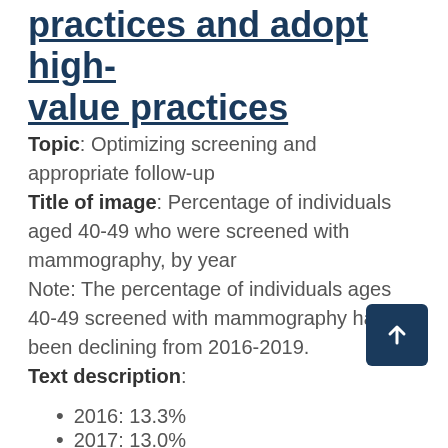practices and adopt high-value practices
Topic: Optimizing screening and appropriate follow-up
Title of image: Percentage of individuals aged 40-49 who were screened with mammography, by year
Note: The percentage of individuals ages 40-49 screened with mammography has been declining from 2016-2019.
Text description:
2016: 13.3%
2017: 13.0%